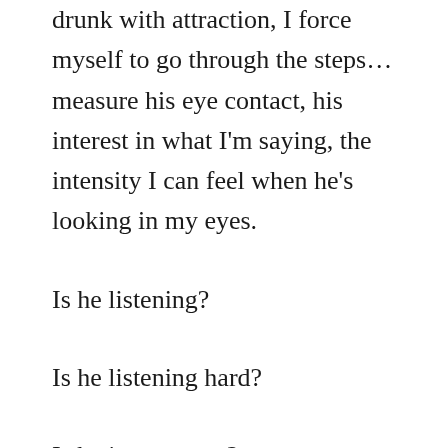drunk with attraction, I force myself to go through the steps… measure his eye contact, his interest in what I'm saying, the intensity I can feel when he's looking in my eyes.
Is he listening?
Is he listening hard?
Is he into me too?
Kind of or a lot?